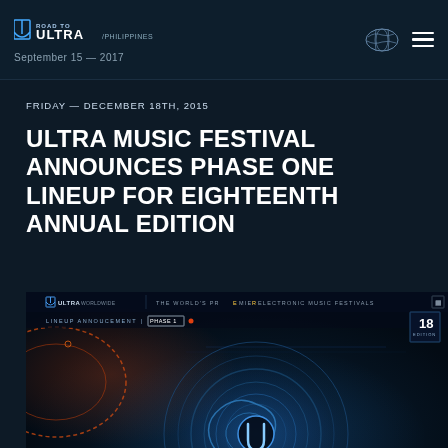Road to Ultra Philippines — September 15 — 2017
FRIDAY — DECEMBER 18TH, 2015
ULTRA MUSIC FESTIVAL ANNOUNCES PHASE ONE LINEUP FOR EIGHTEENTH ANNUAL EDITION
[Figure (photo): Ultra Music Festival Phase 1 lineup announcement graphic showing the Ultra Worldwide logo, 18th edition badge, futuristic blue circular tech design with the Ultra music festival logo at the bottom, on a dark background with blue and orange lighting effects.]